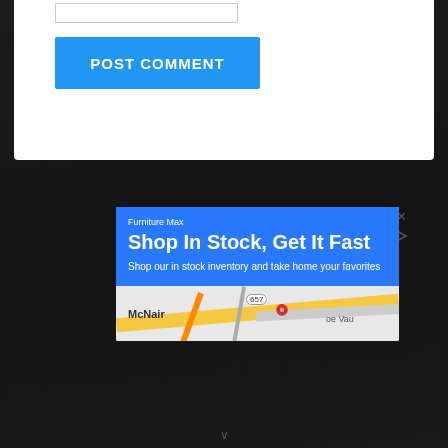[Figure (screenshot): White form card area with an input field stub at the top and a blue POST COMMENT button below it]
[Figure (screenshot): Google ad for Furniture Max showing 'Shop In Stock, Get It Fast' headline on blue background with a Google Maps section below showing McNair area with route 657, a red map pin, and partial street view]